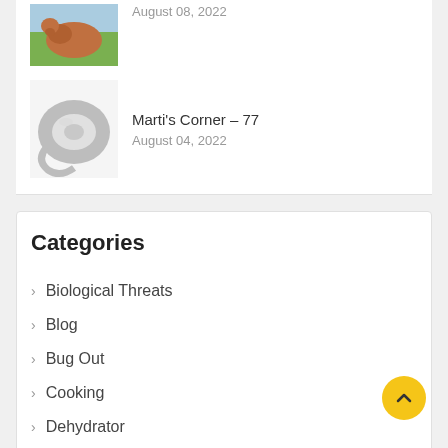[Figure (photo): Photo of a cow in a field (partially cropped at top)]
August 08, 2022
[Figure (photo): Photo of a roll of gray duct tape]
Marti's Corner – 77
August 04, 2022
Categories
Biological Threats
Blog
Bug Out
Cooking
Dehydrator
DIY